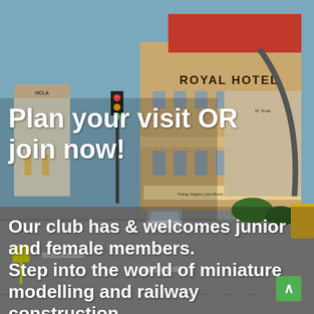[Figure (photo): Aerial view of a detailed model railway town scene featuring a 'Royal Hotel' building with red roof, surrounding shops including a petrol station, a curved metal structure, parked cars, roads, footpaths, signage reading 'Friday Nights Live Music' and 'Lunch & Dinner 7 Days', small trees and shrubs, a yellow disability parking sign, and a yellow vehicle partially visible at right edge. Scene is a miniature diorama photographed from above at an angle.]
Plan your visit OR join now!
Our club has & welcomes junior and female members.
Step into the world of miniature modelling and railway construction.